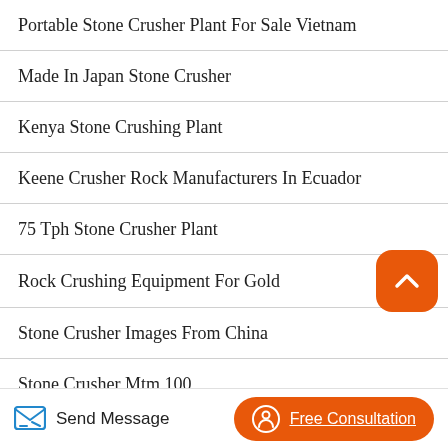Portable Stone Crusher Plant For Sale Vietnam
Made In Japan Stone Crusher
Kenya Stone Crushing Plant
Keene Crusher Rock Manufacturers In Ecuador
75 Tph Stone Crusher Plant
Rock Crushing Equipment For Gold
Stone Crusher Images From China
Stone Crusher Mtm 100
Gold Panning Rock Crushers Small
Rock Crusher Suppliers Philippines (partial)
Send Message
Free Consultation